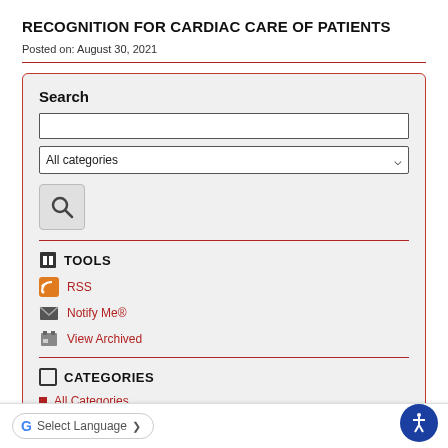RECOGNITION FOR CARDIAC CARE OF PATIENTS
Posted on: August 30, 2021
Search
[Figure (screenshot): Search sidebar with text input, All categories dropdown, search button, Tools section with RSS/Notify Me/View Archived links, and Categories section with All Categories and Highlights links]
RSS
Notify Me®
View Archived
CATEGORIES
All Categories
Highlights